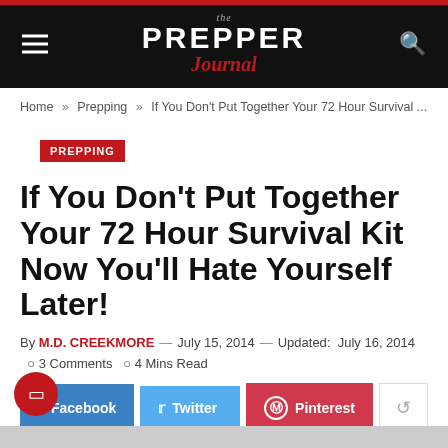the PREPPER Journal
Home » Prepping » If You Don't Put Together Your 72 Hour Survival ...
PREPPING
If You Don't Put Together Your 72 Hour Survival Kit Now You'll Hate Yourself Later!
By M.D. CREEKMORE — July 15, 2014 — Updated: July 16, 2014   3 Comments   4 Mins Read
[Figure (screenshot): Social share buttons: Facebook (3 shares), Twitter, Pinterest, and a share icon button]